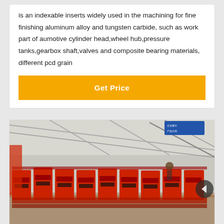is an indexable inserts widely used in the machining for fine finishing aluminum alloy and tungsten carbide, such as work part of aumotive cylinder head,wheel hub,pressure tanks,gearbox shaft,valves and composite bearing materials, different pcd grain
Get Price
[Figure (photo): Industrial factory floor showing a row of large red mining or mineral processing flotation machines lined up in a warehouse/plant with high ceilings and metal roof structure. Equipment is painted red with black components.]